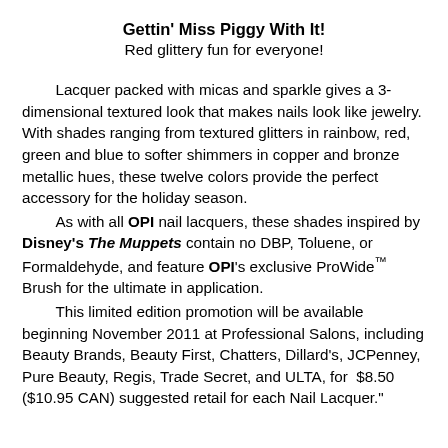Gettin' Miss Piggy With It!
Red glittery fun for everyone!
Lacquer packed with micas and sparkle gives a 3-dimensional textured look that makes nails look like jewelry. With shades ranging from textured glitters in rainbow, red, green and blue to softer shimmers in copper and bronze metallic hues, these twelve colors provide the perfect accessory for the holiday season.

As with all OPI nail lacquers, these shades inspired by Disney's The Muppets contain no DBP, Toluene, or Formaldehyde, and feature OPI's exclusive ProWide™ Brush for the ultimate in application.

This limited edition promotion will be available beginning November 2011 at Professional Salons, including Beauty Brands, Beauty First, Chatters, Dillard's, JCPenney, Pure Beauty, Regis, Trade Secret, and ULTA, for $8.50 ($10.95 CAN) suggested retail for each Nail Lacquer."